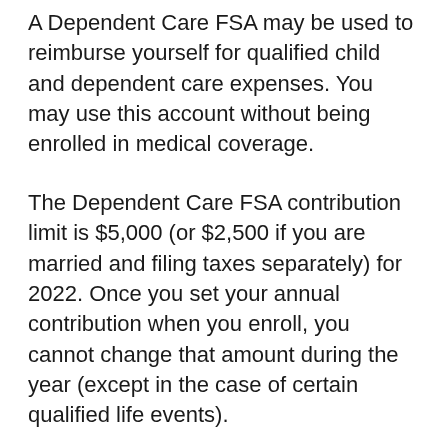A Dependent Care FSA may be used to reimburse yourself for qualified child and dependent care expenses. You may use this account without being enrolled in medical coverage.
The Dependent Care FSA contribution limit is $5,000 (or $2,500 if you are married and filing taxes separately) for 2022. Once you set your annual contribution when you enroll, you cannot change that amount during the year (except in the case of certain qualified life events).
And, with the Dependent Care FSA, you lose any unused money at the end of the year, so